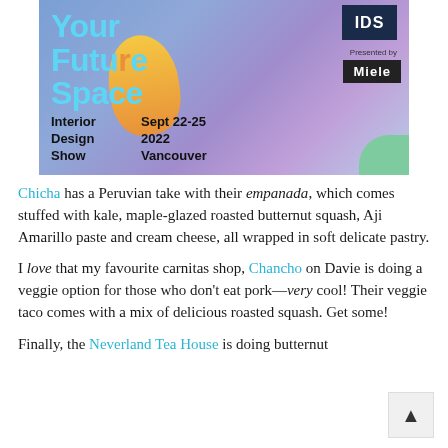[Figure (illustration): Interior Design Show advertisement banner. Purple/blue gradient background with orange cone shape. Text reads 'Your Future Space' in cyan, IDS logo top right, 'Presented by Miele' with Miele black box. Bottom text: 'Interior Design Show  Sept 22-25 2022 Vancouver'. Small green rounded shape bottom right.]
Chicha has a Peruvian take with their empanada, which comes stuffed with kale, maple-glazed roasted butternut squash, Aji Amarillo paste and cream cheese, all wrapped in soft delicate pastry.
I love that my favourite carnitas shop, Chancho on Davie is doing a veggie option for those who don't eat pork—very cool! Their veggie taco comes with a mix of delicious roasted squash. Get some!
Finally, the Neverland Tea House is doing butternut